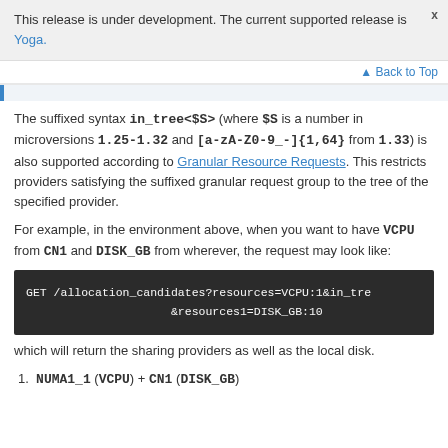This release is under development. The current supported release is Yoga.
Back to Top
The suffixed syntax in_tree<$S> (where $S is a number in microversions 1.25-1.32 and [a-zA-Z0-9_-]{1,64} from 1.33) is also supported according to Granular Resource Requests. This restricts providers satisfying the suffixed granular request group to the tree of the specified provider.
For example, in the environment above, when you want to have VCPU from CN1 and DISK_GB from wherever, the request may look like:
[Figure (screenshot): Code block showing: GET /allocation_candidates?resources=VCPU:1&in_tre
    &resources1=DISK_GB:10]
which will return the sharing providers as well as the local disk.
NUMA1_1 (VCPU) + CN1 (DISK_GB)